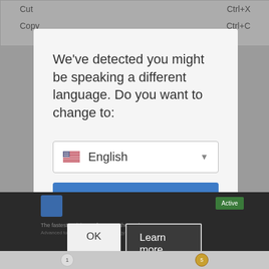[Figure (screenshot): Background context menu showing Cut (Ctrl+X) and Copy (Ctrl+C) menu items in a grey dropdown.]
We've detected you might be speaking a different language. Do you want to change to:
[Figure (screenshot): Dropdown selector showing US flag emoji and 'English' text with a grey triangle dropdown arrow, inside a white bordered box.]
Change Language
Close and do not switch language
[Figure (screenshot): Dark background web page section with OK and Learn more buttons, and small icon elements.]